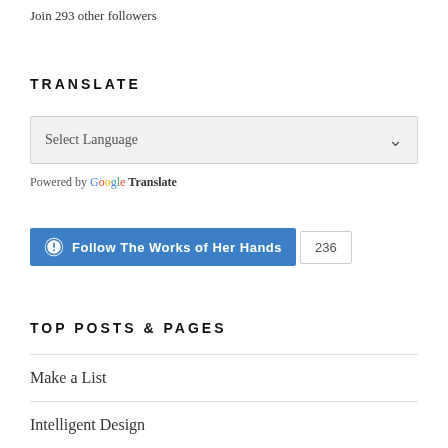Join 293 other followers
TRANSLATE
[Figure (screenshot): Select Language dropdown widget with chevron arrow]
Powered by Google Translate
[Figure (screenshot): WordPress Follow The Works of Her Hands button with follower count 236]
TOP POSTS & PAGES
Make a List
Intelligent Design
WHAT IT MEANS TO BECOME A CHRISTIAN